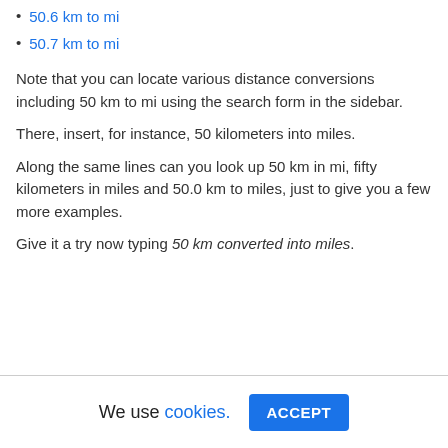50.6 km to mi
50.7 km to mi
Note that you can locate various distance conversions including 50 km to mi using the search form in the sidebar.
There, insert, for instance, 50 kilometers into miles.
Along the same lines can you look up 50 km in mi, fifty kilometers in miles and 50.0 km to miles, just to give you a few more examples.
Give it a try now typing 50 km converted into miles.
We use cookies. ACCEPT